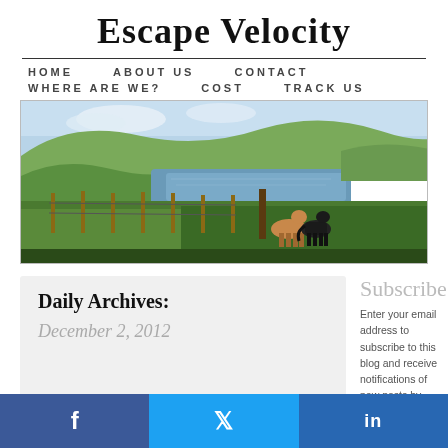Escape Velocity
HOME   ABOUT US   CONTACT   WHERE ARE WE?   COST   TRACK US
[Figure (photo): Panoramic landscape photo showing green hills, a loch or lake, fencing, and two ponies (one brown and white, one black) in the Shetland Islands or similar Scottish landscape.]
Daily Archives:
December 2, 2012
Subscribe
Enter your email address to subscribe to this blog and receive notifications of new posts by email.